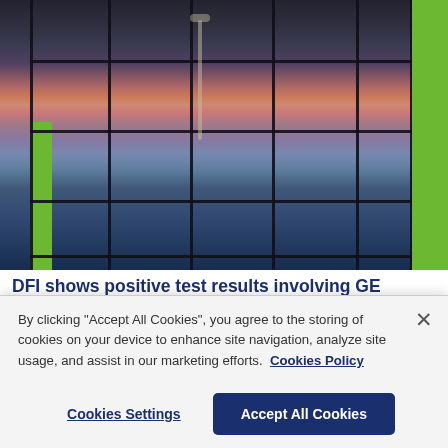[Figure (photo): Exterior photo of a modern glass-facade building reflecting a pink/purple sunset sky. The building has large dark-framed glass panels, green accent columns, and trees visible in the reflection.]
DFI shows positive test results involving GE Silicones sealants on Diamon-Fusion treated glass
By clicking "Accept All Cookies", you agree to the storing of cookies on your device to enhance site navigation, analyze site usage, and assist in our marketing efforts.  Cookies Policy